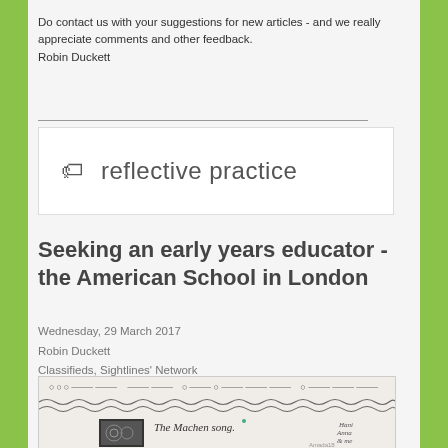Do contact us with your suggestions for new articles - and we really appreciate comments and other feedback.
Robin Duckett
reflective practice
Seeking an early years educator - the American School in London
Wednesday, 29 March 2017
Robin Duckett
Classifieds, Sightlines' Network
[Figure (photo): A photograph of a child's handwritten page with wavy lines and text reading 'The Machen song.' with a small black and white image attached and handwritten names.]